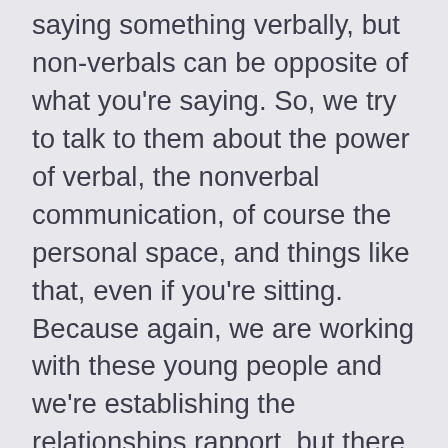saying something verbally, but non-verbals can be opposite of what you're saying. So, we try to talk to them about the power of verbal, the nonverbal communication, of course the personal space, and things like that, even if you're sitting. Because again, we are working with these young people and we're establishing the relationships rapport, but there are days [00:27:00] when this young person and some of these families, don't wanna hear you, and they don't wanna have anything to do with you. But we can't help them live successfully if we just walk away. So we have to hang in there with them, see them through it, talk them through it, support them in any way we can by using those techniques that are taught in CPI, but also